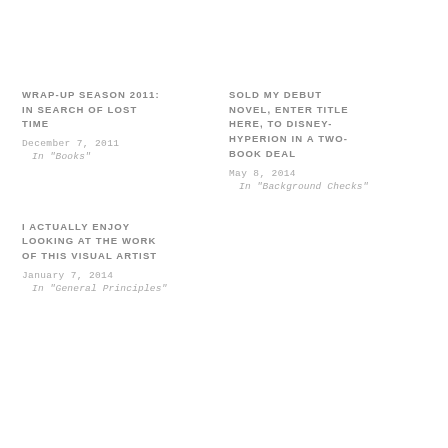WRAP-UP SEASON 2011: IN SEARCH OF LOST TIME
December 7, 2011
In "Books"
SOLD MY DEBUT NOVEL, ENTER TITLE HERE, TO DISNEY-HYPERION IN A TWO-BOOK DEAL
May 8, 2014
In "Background Checks"
I ACTUALLY ENJOY LOOKING AT THE WORK OF THIS VISUAL ARTIST
January 7, 2014
In "General Principles"
FB